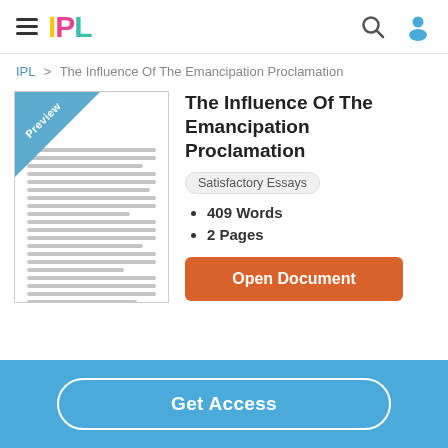IPL
IPL > The Influence Of The Emancipation Proclamation
[Figure (screenshot): Document preview thumbnail with 'Preview' diagonal banner in blue]
The Influence Of The Emancipation Proclamation
Satisfactory Essays
409 Words
2 Pages
Open Document
Get Access